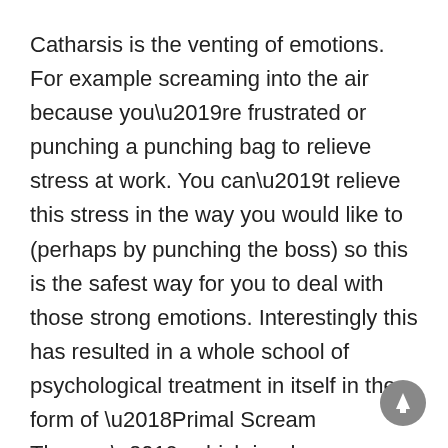Catharsis is the venting of emotions. For example screaming into the air because you’re frustrated or punching a punching bag to relieve stress at work. You can’t relieve this stress in the way you would like to (perhaps by punching the boss) so this is the safest way for you to deal with those strong emotions. Interestingly this has resulted in a whole school of psychological treatment in itself in the form of ‘Primal Scream Therapy’, which is when you shout at the top of your voice as a way to let go of your anxieties. This was the subject of the song ‘Shout’ by Tears for Fears.